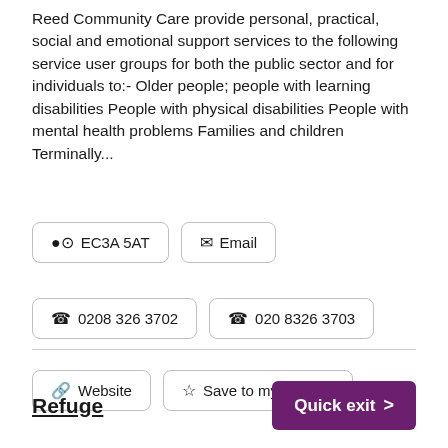Reed Community Care provide personal, practical, social and emotional support services to the following service user groups for both the public sector and for individuals to:- Older people; people with learning disabilities People with physical disabilities People with mental health problems Families and children Terminally...
📍 EC3A 5AT
✉ Email
📞 0208 326 3702
📞 020 8326 3703
🔗 Website
☆ Save to my shortlist
Refuge
Quick exit >